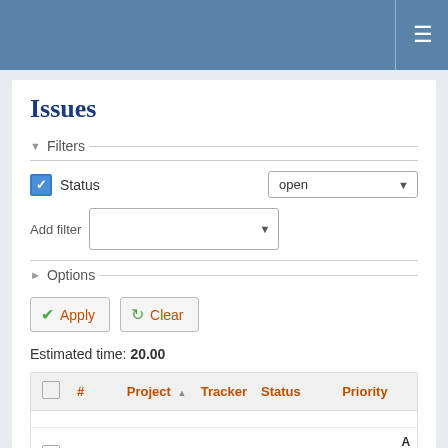≡
Issues
▾ Filters
Status  open ▾
Add filter  ▾
▸ Options
✔ Apply   ↻ Clear
Estimated time: 20.00
|  | # | Project ▲ | Tracker | Status | Priority |
| --- | --- | --- | --- | --- | --- |
|  | 14320 | QFQ | Feature | In Progress | Normal | A T g |